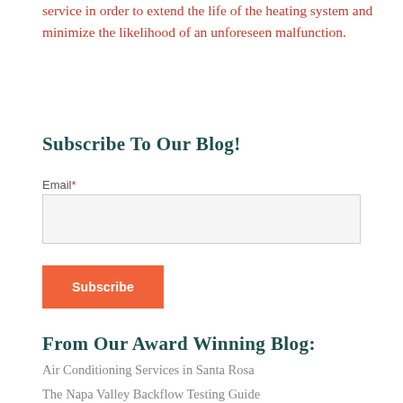service in order to extend the life of the heating system and minimize the likelihood of an unforeseen malfunction.
Subscribe To Our Blog!
Email*
Subscribe
From Our Award Winning Blog:
Air Conditioning Services in Santa Rosa
The Napa Valley Backflow Testing Guide